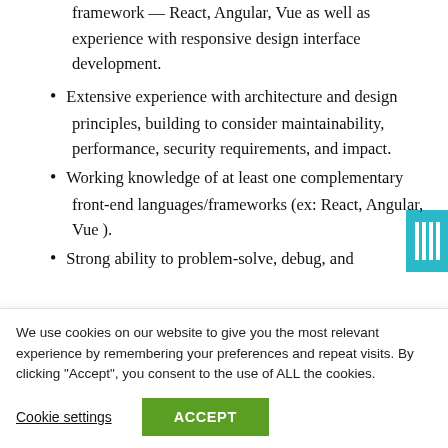framework — React, Angular, Vue as well as experience with responsive design interface development.
Extensive experience with architecture and design principles, building to consider maintainability, performance, security requirements, and impact.
Working knowledge of at least one complementary front-end languages/frameworks (ex: React, Angular, Vue ).
Strong ability to problem-solve, debug, and understand pertinent performance metrics
We use cookies on our website to give you the most relevant experience by remembering your preferences and repeat visits. By clicking “Accept”, you consent to the use of ALL the cookies.
Cookie settings
ACCEPT